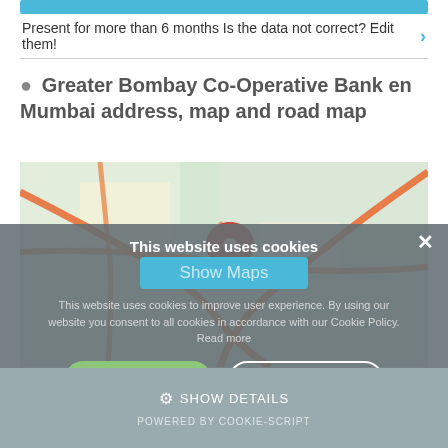Present for more than 6 months Is the data not correct? Edit them! >
Greater Bombay Co-Operative Bank en Mumbai address, map and road map
[Figure (map): Road map showing location of Greater Bombay Co-Operative Bank in Mumbai with a red location pin marker and orange road lines]
This website uses cookies
Show Maps
This website uses cookies to improve user experience. By using our website you consent to all cookies in accordance with our Cookie Policy. Read more
ACCEPT ALL
DECLINE ALL
SHOW DETAILS
POWERED BY COOKIE-SCRIPT